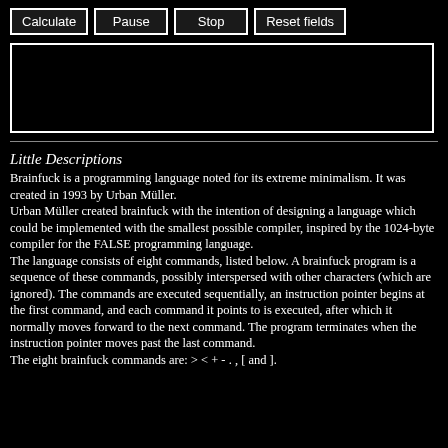[Figure (screenshot): Row of buttons: Calculate, Pause, Stop, Reset fields]
[Figure (screenshot): Black textarea input box]
Little Descriptions
Brainfuck is a programming language noted for its extreme minimalism. It was created in 1993 by Urban Müller. Urban Müller created brainfuck with the intention of designing a language which could be implemented with the smallest possible compiler, inspired by the 1024-byte compiler for the FALSE programming language. The language consists of eight commands, listed below. A brainfuck program is a sequence of these commands, possibly interspersed with other characters (which are ignored). The commands are executed sequentially, an instruction pointer begins at the first command, and each command it points to is executed, after which it normally moves forward to the next command. The program terminates when the instruction pointer moves past the last command. The eight brainfuck commands are: > < + - . , [ and ].